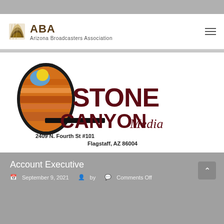[Figure (logo): ABA - Arizona Broadcasters Association logo with golden stylized icon and text]
[Figure (logo): Stone Canyon Media logo with oval canyon image, bold maroon text, address: 2409 N. Fourth St #101, Flagstaff, AZ 86004]
Account Executive
September 9, 2021   by   Comments Off